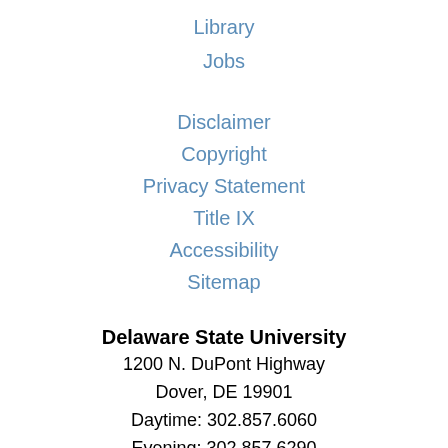Library
Jobs
Disclaimer
Copyright
Privacy Statement
Title IX
Accessibility
Sitemap
Delaware State University
1200 N. DuPont Highway
Dover, DE 19901
Daytime: 302.857.6060
Evening: 302.857.6290